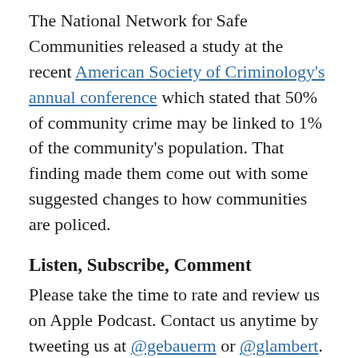The National Network for Safe Communities released a study at the recent American Society of Criminology's annual conference which stated that 50% of community crime may be linked to 1% of the community's population. That finding made them come out with some suggested changes to how communities are policed.
Listen, Subscribe, Comment
Please take the time to rate and review us on Apple Podcast. Contact us anytime by tweeting us at @gebauerm or @glambert. Or, you can call The Geek in Review hotline at 713-487-7270 and leave us a message. You can email us at geekinreviewpodcast@gmail.com. As always, the great music you hear on the podcast is from jerry